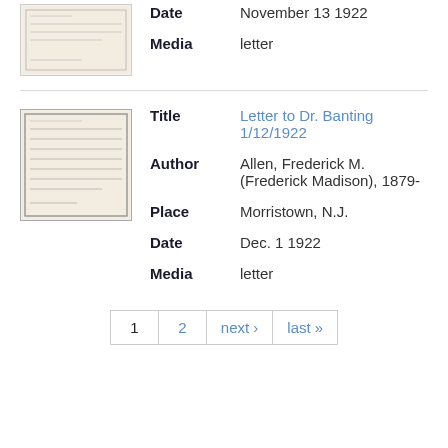[Figure (photo): Thumbnail image of a handwritten/typed letter document, partially visible at top]
Date: November 13 1922
Media: letter
[Figure (photo): Thumbnail image of a typed letter document]
Title: Letter to Dr. Banting 1/12/1922
Author: Allen, Frederick M. (Frederick Madison), 1879-
Place: Morristown, N.J.
Date: Dec. 1 1922
Media: letter
1  2  next›  last»